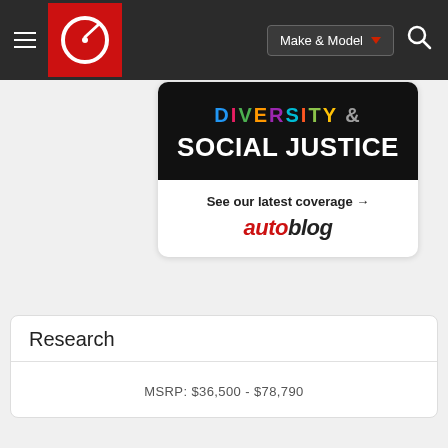Make & Model
[Figure (screenshot): Car Gurus navigation bar with logo, Make & Model dropdown, and search icon]
[Figure (illustration): Advertisement card showing 'DIVERSITY & SOCIAL JUSTICE' text in colorful letters on black background, with 'See our latest coverage' link and Autoblog logo]
See our latest coverage →
Research
MSRP: $36,500 - $78,790